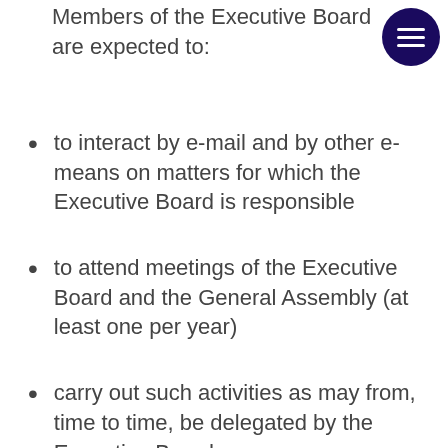Members of the Executive Board are expected to:
to interact by e-mail and by other e-means on matters for which the Executive Board is responsible
to attend meetings of the Executive Board and the General Assembly (at least one per year)
carry out such activities as may from, time to time, be delegated by the Executive Board